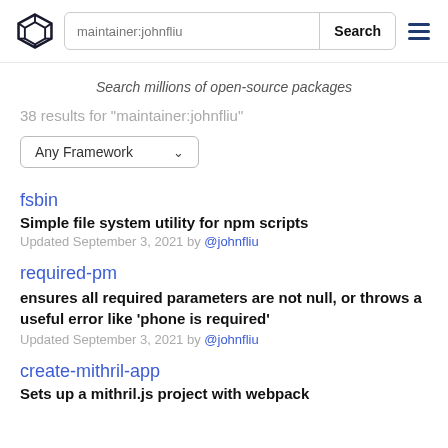maintainer:johnfliu  Search
Search millions of open-source packages
38 results for "maintainer:johnfliu"
Any Framework
fsbin
Simple file system utility for npm scripts
Updated September 3, 2021 by @johnfliu
required-pm
ensures all required parameters are not null, or throws a useful error like 'phone is required'
Updated September 3, 2021 by @johnfliu
create-mithril-app
Sets up a mithril.js project with webpack